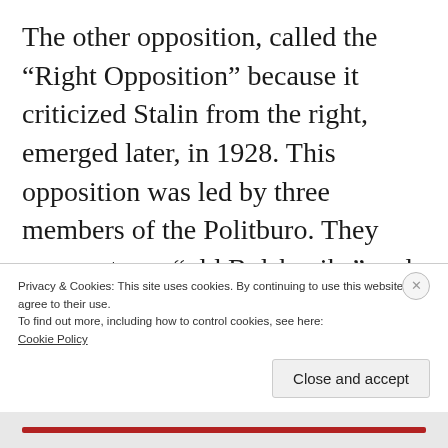The other opposition, called the “Right Opposition” because it criticized Stalin from the right, emerged later, in 1928. This opposition was led by three members of the Politburo. They were veteran “old Bolsheviks” and had been close associates of Lenin: Nikolai Bukharin, leading Soviet theoretician and well-known Marxist economist; Soviet Prime Minister Alexei Rykov; and head of the Soviet trade unions
Privacy & Cookies: This site uses cookies. By continuing to use this website, you agree to their use.
To find out more, including how to control cookies, see here:
Cookie Policy
Close and accept